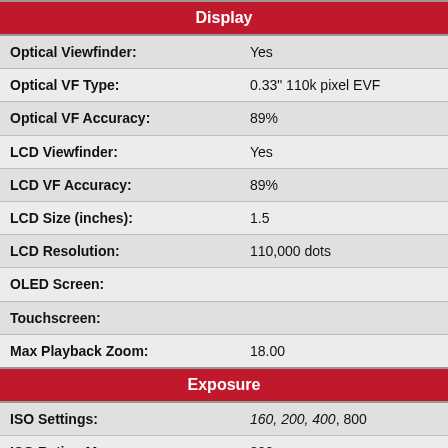| Attribute | Value |
| --- | --- |
| Display |  |
| Optical Viewfinder: | Yes |
| Optical VF Type: | 0.33" 110k pixel EVF |
| Optical VF Accuracy: | 89% |
| LCD Viewfinder: | Yes |
| LCD VF Accuracy: | 89% |
| LCD Size (inches): | 1.5 |
| LCD Resolution: | 110,000 dots |
| OLED Screen: |  |
| Touchscreen: |  |
| Max Playback Zoom: | 18.00 |
| Exposure |  |
| ISO Settings: | 160, 200, 400, 800 |
| ISO Rating Max: | 800 |
| Number of White Balance |  |